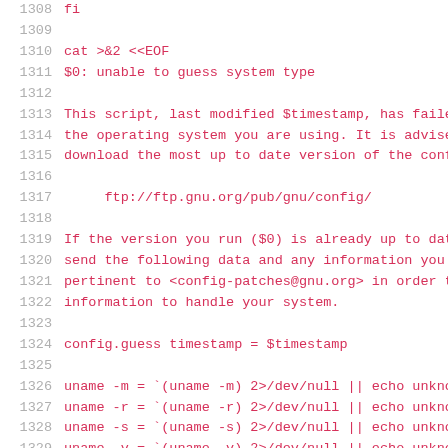Code listing lines 1308-1330: shell script fragment showing fi, cat heredoc, error message, ftp URL, config.guess, uname commands